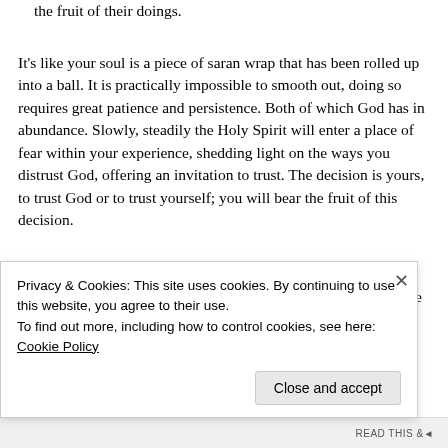the fruit of their doings.
It's like your soul is a piece of saran wrap that has been rolled up into a ball. It is practically impossible to smooth out, doing so requires great patience and persistence. Both of which God has in abundance. Slowly, steadily the Holy Spirit will enter a place of fear within your experience, shedding light on the ways you distrust God, offering an invitation to trust. The decision is yours, to trust God or to trust yourself; you will bear the fruit of this decision.
Practical steps of implementing this trust will be addressed in the next and final installment of the article Return to Innocence
Privacy & Cookies: This site uses cookies. By continuing to use this website, you agree to their use.
To find out more, including how to control cookies, see here: Cookie Policy
Close and accept